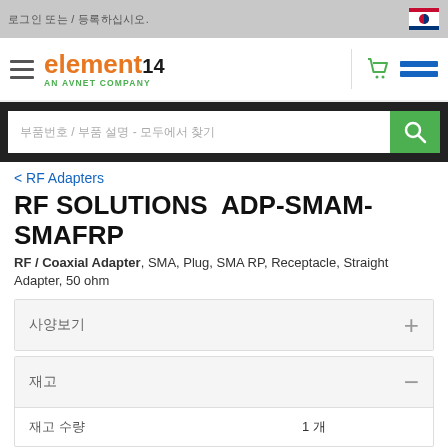로그인 또는 / 등록하십시오.
[Figure (logo): element14 AN AVNET COMPANY logo with hamburger menu, cart icon, and navigation menu lines]
부품번호 / 부품 설명 - 모두에서 찾기
< RF Adapters
RF SOLUTIONS  ADP-SMAM-SMAFRP
RF / Coaxial Adapter, SMA, Plug, SMA RP, Receptacle, Straight Adapter, 50 ohm
사양보기
재고
| 재고 수량 | 1 개 |
| --- | --- |